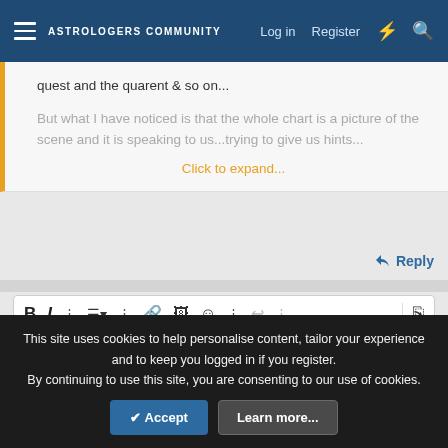ASTROLOGERS COMMUNITY  Log in  Register
quest and the quarent & so on...
But what I have noticed is that the whole chart is a picture of the scene and it is speaking to us...trying to give us hints...
Click to expand...
Reply
[Figure (screenshot): Text editor toolbar with bold, italic, dots, list, dots, link, image, emoji, dots, undo, dots icons, and a preview icon on the right]
Write your reply...
This site uses cookies to help personalise content, tailor your experience and to keep you logged in if you register.
By continuing to use this site, you are consenting to our use of cookies.
Accept  Learn more...